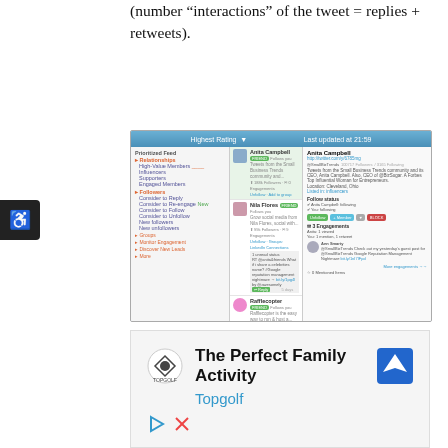(number “interactions” of the tweet = replies + retweets).
[Figure (screenshot): Screenshot of a social media management tool (likely SocialBro/Audiense) showing influencer profiles including Anita Campbell, Nila Flores, Rafflecopter, Ann Handley, and Neal Schaffer, with engagement metrics and a right panel showing Anita Campbell's profile details.]
[Figure (screenshot): Advertisement banner for Topgolf featuring the Topgolf logo, text 'The Perfect Family Activity', 'Topgolf', a navigation/maps icon, and social media icons.]